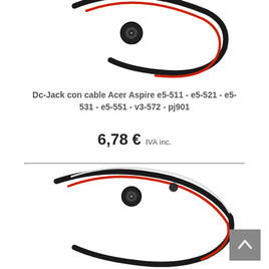[Figure (photo): Top portion of a DC jack with cable for Acer Aspire laptops, showing black connector with red wire against white background]
Dc-Jack con cable Acer Aspire e5-511 - e5-521 - e5-531 - e5-551 - v3-572 - pj901
6,78 € IVA inc.
[Figure (photo): Bottom portion of a DC jack with cable for Acer Aspire laptops, showing black connector with red and white wires against white background]